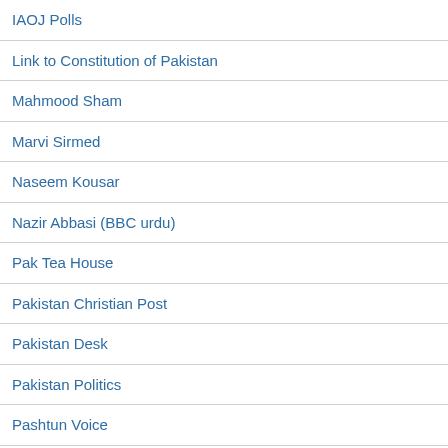IAOJ Polls
Link to Constitution of Pakistan
Mahmood Sham
Marvi Sirmed
Naseem Kousar
Nazir Abbasi (BBC urdu)
Pak Tea House
Pakistan Christian Post
Pakistan Desk
Pakistan Politics
Pashtun Voice
Peshawar Statesman
Roman Urdu to Urdu